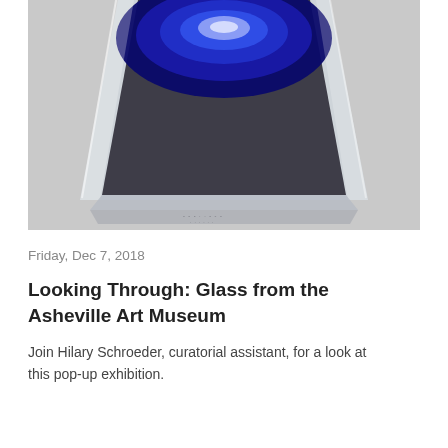[Figure (photo): Close-up photograph of a clear glass art object with a deep cobalt blue circular interior pattern, faceted base, on a light grey background. The bottom of the piece shows an engraved signature or marking.]
Friday, Dec 7, 2018
Looking Through: Glass from the Asheville Art Museum
Join Hilary Schroeder, curatorial assistant, for a look at this pop-up exhibition.